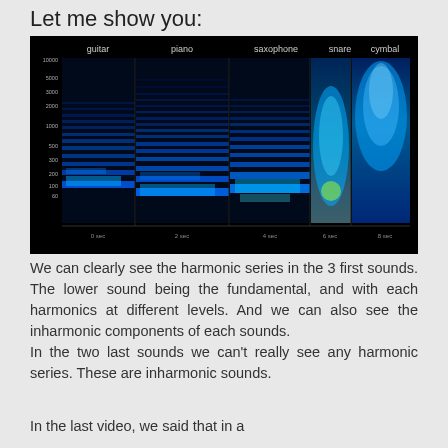Let me show you:
[Figure (spectrogram): Spectrogram showing frequency vs time for five instruments: guitar, piano, saxophone, snare, and cymbal. The guitar, piano, and saxophone show clear harmonic series (horizontal banded lines) in blue. The snare and cymbal show inharmonic, broadband noise patterns.]
We can clearly see the harmonic series in the 3 first sounds. The lower sound being the fundamental, and with each harmonics at different levels. And we can also see the inharmonic components of each sounds.
In the two last sounds we can't really see any harmonic series. These are inharmonic sounds.
In the last video, we said that in a